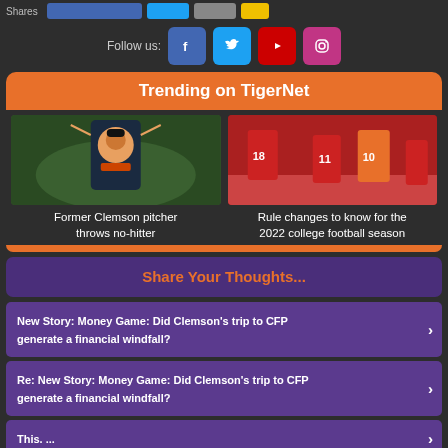[Figure (screenshot): Social share buttons row: Facebook wide button, Twitter button, email button, bookmark/amber button, labeled Shares]
Follow us:
[Figure (infographic): Follow us social icons: Facebook (blue), Twitter (blue), YouTube (red), Instagram (magenta)]
Trending on TigerNet
[Figure (photo): Baseball player with arms raised celebrating, wearing orange and black uniform]
Former Clemson pitcher throws no-hitter
[Figure (photo): College football players on field, players wearing red (#18, #11) and orange (#10) uniforms]
Rule changes to know for the 2022 college football season
Share Your Thoughts...
New Story: Money Game: Did Clemson's trip to CFP generate a financial windfall?
Re: New Story: Money Game: Did Clemson's trip to CFP generate a financial windfall?
This. ...